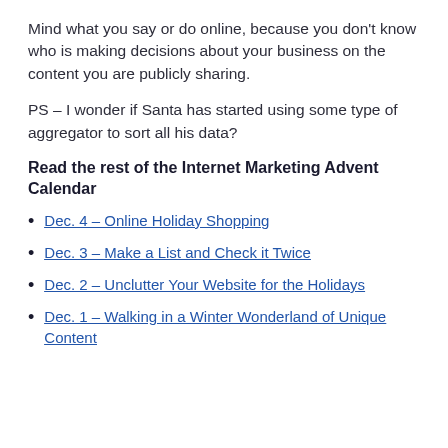Mind what you say or do online, because you don't know who is making decisions about your business on the content you are publicly sharing.
PS – I wonder if Santa has started using some type of aggregator to sort all his data?
Read the rest of the Internet Marketing Advent Calendar
Dec. 4 – Online Holiday Shopping
Dec. 3 – Make a List and Check it Twice
Dec. 2 – Unclutter Your Website for the Holidays
Dec. 1 – Walking in a Winter Wonderland of Unique Content